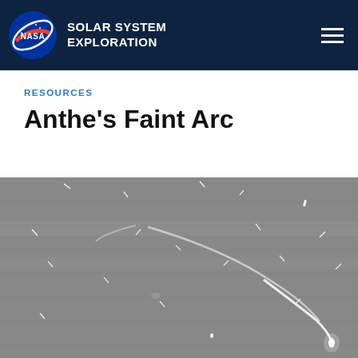NASA SOLAR SYSTEM EXPLORATION
RESOURCES
Anthe's Faint Arc
[Figure (photo): Black and white space image showing Anthe's faint arc, a ring arc around Saturn. The image shows a grainy, noisy background with faint streak-like star trails and a bright curved arc visible in the lower right portion of the image.]